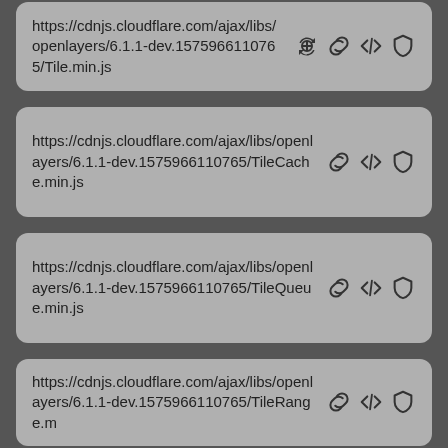https://cdnjs.cloudflare.com/ajax/libs/openlayers/6.1.1-dev.1575966110765/Tile.min.js
https://cdnjs.cloudflare.com/ajax/libs/openlayers/6.1.1-dev.1575966110765/TileCache.min.js
https://cdnjs.cloudflare.com/ajax/libs/openlayers/6.1.1-dev.1575966110765/TileQueue.min.js
https://cdnjs.cloudflare.com/ajax/libs/openlayers/6.1.1-dev.1575966110765/TileRange.m